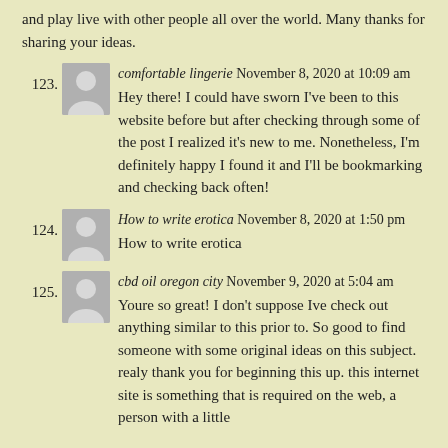and play live with other people all over the world. Many thanks for sharing your ideas.
123. comfortable lingerie November 8, 2020 at 10:09 am
Hey there! I could have sworn I've been to this website before but after checking through some of the post I realized it's new to me. Nonetheless, I'm definitely happy I found it and I'll be bookmarking and checking back often!
124. How to write erotica November 8, 2020 at 1:50 pm
How to write erotica
125. cbd oil oregon city November 9, 2020 at 5:04 am
Youre so great! I don't suppose Ive check out anything similar to this prior to. So good to find someone with some original ideas on this subject. realy thank you for beginning this up. this internet site is something that is required on the web, a person with a little